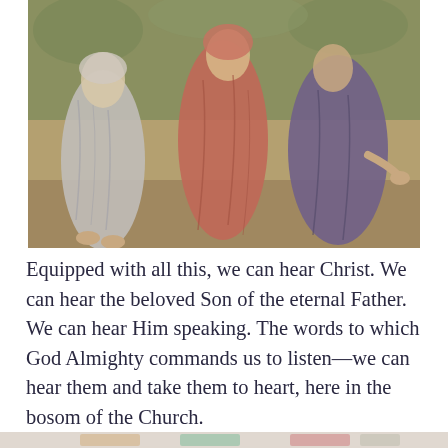[Figure (illustration): Renaissance-style painting showing three robed figures, one in white/grey garments on the left, one in red/pink in the center, and one in dark blue/purple on the right, appearing to be walking or moving in a landscape setting.]
Equipped with all this, we can hear Christ. We can hear the beloved Son of the eternal Father. We can hear Him speaking. The words to which God Almighty commands us to listen—we can hear them and take them to heart, here in the bosom of the Church.
Privacy & Cookies: This site uses cookies. By continuing to use this website, you agree to their use.
To find out more, including how to control cookies, see here: Cookie Policy
Close and accept